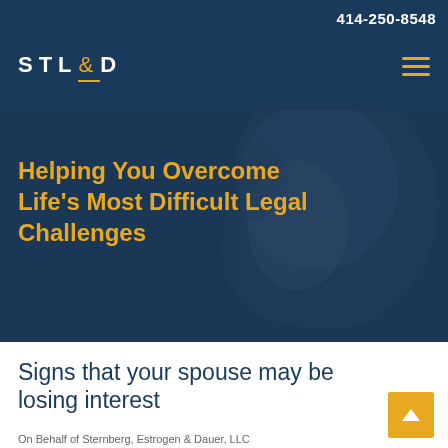414-250-8548
[Figure (logo): STL&D law firm logo in white text on dark blue background with yellow underline accent]
[Figure (photo): Hero image with dark blue overlay showing two people, with yellow text overlay reading 'Helping You Overcome Life's Most Difficult Legal Challenges']
Helping You Overcome Life's Most Difficult Legal Challenges
Signs that your spouse may be losing interest
On Behalf of Sternberg, Estrogen & Dauer, LLC